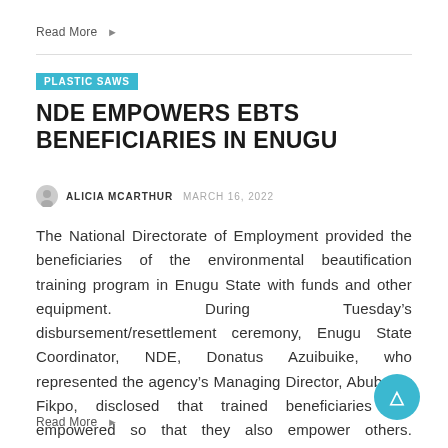Read More ►
PLASTIC SAWS
NDE EMPOWERS EBTS BENEFICIARIES IN ENUGU
ALICIA MCARTHUR   MARCH 16, 2022
The National Directorate of Employment provided the beneficiaries of the environmental beautification training program in Enugu State with funds and other equipment. During Tuesday’s disbursement/resettlement ceremony, Enugu State Coordinator, NDE, Donatus Azuibuike, who represented the agency’s Managing Director, Abubakar Fikpo, disclosed that trained beneficiaries are empowered so that they also empower others. According to the …
Read More ►